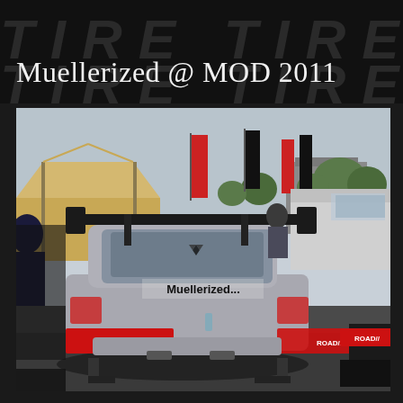Muellerized @ MOD 2011
[Figure (photo): Rear view of a silver Mitsubishi Lancer Evolution race/show car with 'Muellerized...' text on the trunk lid, large rear wing, and Road Race branded side skirts, parked in a paddock area with tents, banners, and other vehicles in the background at MOD 2011 event.]